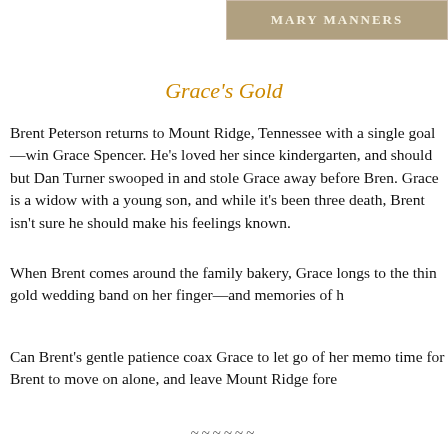[Figure (illustration): Header image showing a photo banner with the text 'Mary Manners' in small caps on a warm brown/golden background]
Grace's Gold
Brent Peterson returns to Mount Ridge, Tennessee with a single goal—win Grace Spencer. He's loved her since kindergarten, and should have told her long ago, but Dan Turner swooped in and stole Grace away before Brent could act. Now Grace is a widow with a young son, and while it's been three years since Dan's death, Brent isn't sure he should make his feelings known.
When Brent comes around the family bakery, Grace longs to reach for him, but the thin gold wedding band on her finger—and memories of her late husband—
Can Brent's gentle patience coax Grace to let go of her memories, or is it time for Brent to move on alone, and leave Mount Ridge fore
~~~~~~